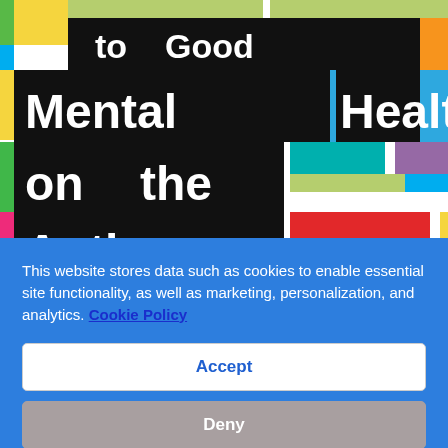[Figure (illustration): Colorful book cover with black text blocks reading 'to Good Mental Health on the Autism Spectrum', surrounded by multicolored rectangular strips on a white background.]
This website stores data such as cookies to enable essential site functionality, as well as marketing, personalization, and analytics. Cookie Policy
Accept
Deny